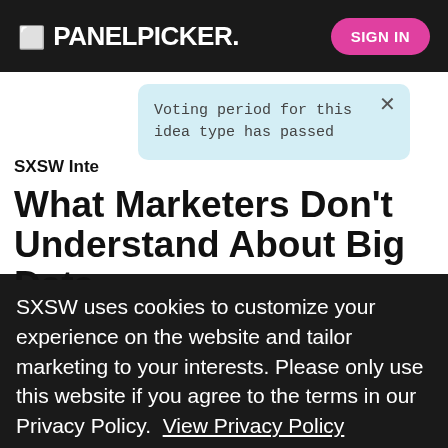PANELPICKER — SIGN IN
[Figure (screenshot): Voting period tooltip: 'Voting period for this idea type has passed' with close X button, light blue background]
SXSW Inte[ractive]
What Marketers Don't Understand About Big Data
SXSW uses cookies to customize your experience on the website and tailor marketing to your interests. Please only use this website if you agree to the terms in our Privacy Policy. View Privacy Policy
disciplines — from energy to politics to gaming — but there are precious [few ex]perts who can pinpoint (or better yet, explain) its definition. The reality is that the words "big data" have two different meanings